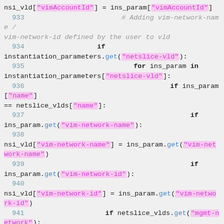nsi_vld["vimAccountId"] = ins_param["vimAccountId"]
  933                        # Adding vim-network-name /
vim-network-id defined by the user to vld
  934                  if
instantiation_parameters.get("netslice-vld"):
  935                           for ins_param in
instantiation_parameters["netslice-vld"]:
  936                                    if ins_param["name"]
== netslice_vlds["name"]:
  937                                         if
ins_param.get("vim-network-name"):
  938
nsi_vld["vim-network-name"] = ins_param.get("vim-network-name")
  939                                         if
ins_param.get("vim-network-id"):
  940
nsi_vld["vim-network-id"] = ins_param.get("vim-network-id")
  941                    if netslice_vlds.get("mgmt-network"):
  942                              nsi_vld["mgmt-network"]
= netslice_vlds.get("mgmt-network")
  943                      nsi_vlds.append(nsi_vld)
  944